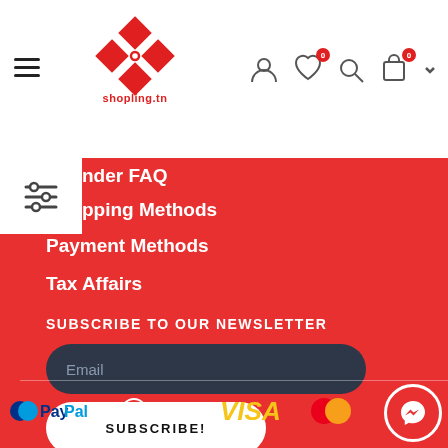[Figure (logo): Shopling.tn logo — red diamond/rhombus pattern with 'shopling.tn' text below]
nder FAQ
pping Methods
Payment Methods
Tax Affairs
SUBSCRIBE TO OUR NEWSLETTER
Email
SUBSCRIBE!
[Figure (logo): Payment method logos: PayPal, PAYMEE, VISA, Mastercard]
[Figure (other): Messenger chat button (red circle with messenger icon)]